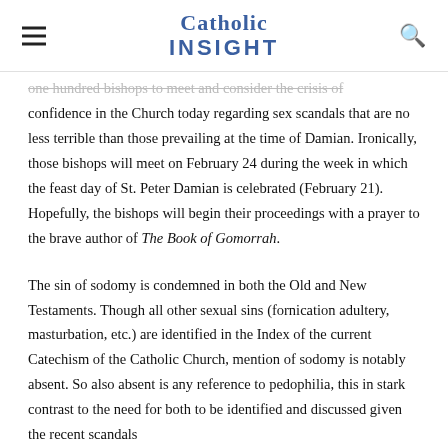Catholic INSIGHT
one hundred bishops to meet and consider the crisis of confidence in the Church today regarding sex scandals that are no less terrible than those prevailing at the time of Damian. Ironically, those bishops will meet on February 24 during the week in which the feast day of St. Peter Damian is celebrated (February 21). Hopefully, the bishops will begin their proceedings with a prayer to the brave author of The Book of Gomorrah.
The sin of sodomy is condemned in both the Old and New Testaments. Though all other sexual sins (fornication adultery, masturbation, etc.) are identified in the Index of the current Catechism of the Catholic Church, mention of sodomy is notably absent. So also absent is any reference to pedophilia, this in stark contrast to the need for both to be identified and discussed given the recent scandals